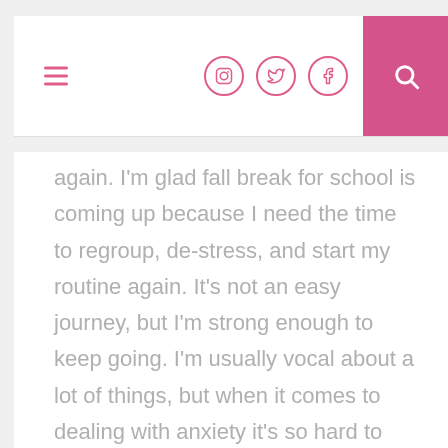Navigation bar with hamburger menu, Instagram, Twitter, Facebook icons, and search button
again.  I'm glad fall break for school is coming up because I need the time to regroup, de-stress, and start my routine again.  It's not an easy journey, but I'm strong enough to keep going.  I'm usually vocal about a lot of things, but when it comes to dealing with anxiety it's so hard to talk about what I'm going through.  What helps a lot though is talking about it to people that care about you.  This isn't something you can battle completely alone.  So if you